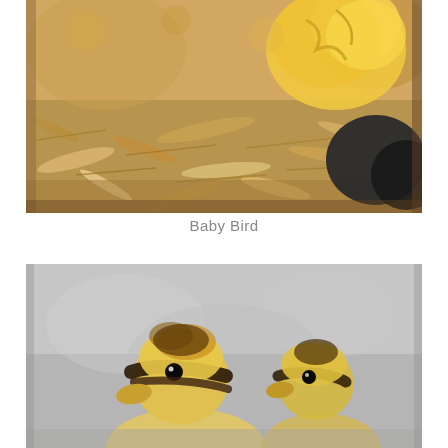[Figure (photo): Close-up macro photo of a baby bird (yellow fluffy chick) on a bed of wood shavings/straw, with a dark black beak or object visible at the right edge.]
Baby Bird
[Figure (photo): Close-up photo of two baby mallard ducklings with distinctive yellow and dark striped faces, soft gray blurred background, one duckling in the foreground and one slightly behind.]